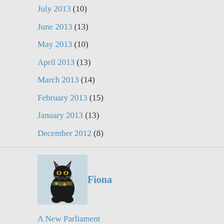July 2013 (10)
June 2013 (13)
May 2013 (10)
April 2013 (13)
March 2013 (14)
February 2013 (15)
January 2013 (13)
December 2012 (8)
[Figure (illustration): Egyptian cat statue avatar image for user Fiona]
Fiona
A New Parliament
107 Years Ago . . .
Ukraine ...
Sexism is unacceptable